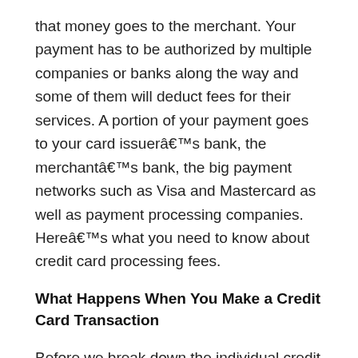that money goes to the merchant. Your payment has to be authorized by multiple companies or banks along the way and some of them will deduct fees for their services. A portion of your payment goes to your card issuerâs bank, the merchantâs bank, the big payment networks such as Visa and Mastercard as well as payment processing companies. Hereâs what you need to know about credit card processing fees.
What Happens When You Make a Credit Card Transaction
Before we break down the individual credit card processing fees, itâs helpful to give a quick rundown of what happens when you make a payment with your credit card.
When you try to make a purchase with your card,